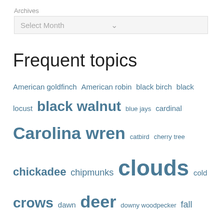Archives
Select Month
Frequent topics
American goldfinch American robin black birch black locust black walnut blue jays cardinal Carolina wren catbird cherry tree chickadee chipmunks clouds cold crows dawn deer downy woodpecker fall foliage fog frost gray squirrel I-99 juncos lilac moon oaks phoebe pileated woodpecker rain raven ruby-throated hummingbird snow snowflakes springhouse stream sunrise train trucks tufted titmouse tulip tree white-breasted nuthatch